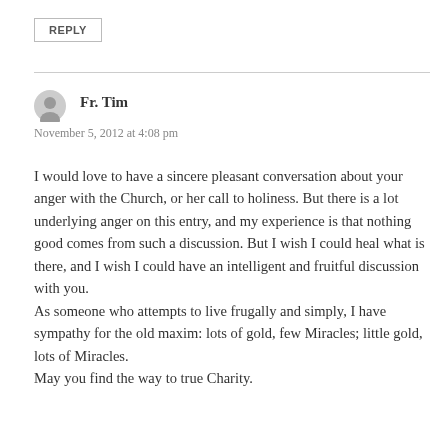REPLY
Fr. Tim
November 5, 2012 at 4:08 pm
I would love to have a sincere pleasant conversation about your anger with the Church, or her call to holiness. But there is a lot underlying anger on this entry, and my experience is that nothing good comes from such a discussion. But I wish I could heal what is there, and I wish I could have an intelligent and fruitful discussion with you.
As someone who attempts to live frugally and simply, I have sympathy for the old maxim: lots of gold, few Miracles; little gold, lots of Miracles.
May you find the way to true Charity.